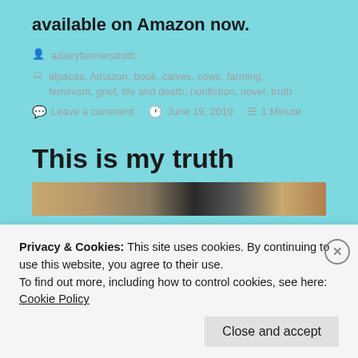available on Amazon now.
adairyfarmerstruth
alpacas, Amazon, book, calves, cows, farming, feminism, grief, life and death, nonfiction, novel, truth
Leave a comment   June 19, 2019   1 Minute
This is my truth
[Figure (photo): Partial photo strip showing cows or farm animals]
Privacy & Cookies: This site uses cookies. By continuing to use this website, you agree to their use.
To find out more, including how to control cookies, see here: Cookie Policy
Close and accept